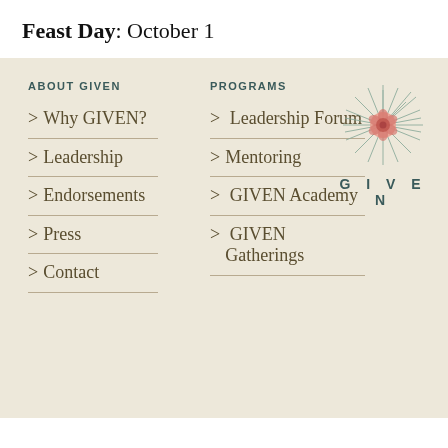Feast Day: October 1
ABOUT GIVEN
PROGRAMS
> Why GIVEN?
> Leadership
> Endorsements
> Press
> Contact
> Leadership Forum
> Mentoring
> GIVEN Academy
> GIVEN Gatherings
[Figure (logo): GIVEN Institute logo with a rose in the center surrounded by radiating lines/sunburst, with the word GIVEN below in teal spaced letters]